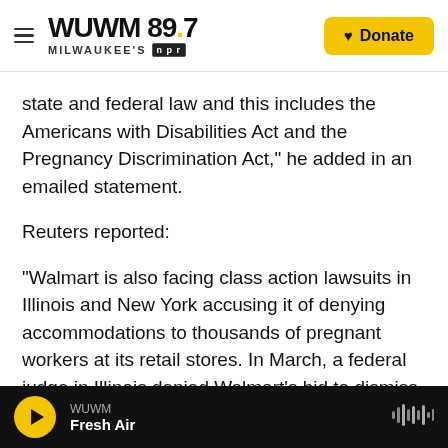WUWM 89.7 Milwaukee's NPR — Donate
state and federal law and this includes the Americans with Disabilities Act and the Pregnancy Discrimination Act," he added in an emailed statement.
Reuters reported:
"Walmart is also facing class action lawsuits in Illinois and New York accusing it of denying accommodations to thousands of pregnant workers at its retail stores. In March, a federal judge in Illinois denied Walmart's bid to dismiss the claims. The New York case is pending."
WUWM — Fresh Air